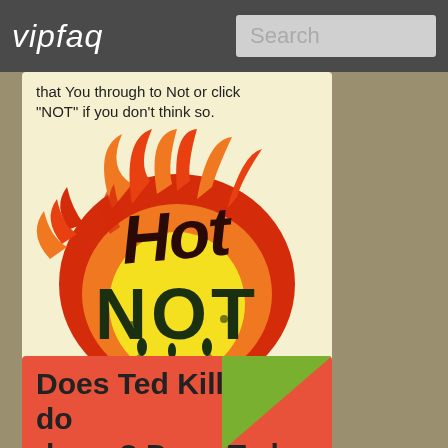vipfaq | Search
that You through to Not or click "NOT" if you don't think so.
[Figure (illustration): Hot or Not logo with flame graphic. Bold dark red text 'Hot' with flames on top and bold dark green text 'NOT' below, set against a circular flame background in red, orange, and yellow on a cream background.]
0% of all voters think that Ted Killean is hot, 0% voted for "Not Hot".
Does Ted Killean do drugs? Does Ted Killean...